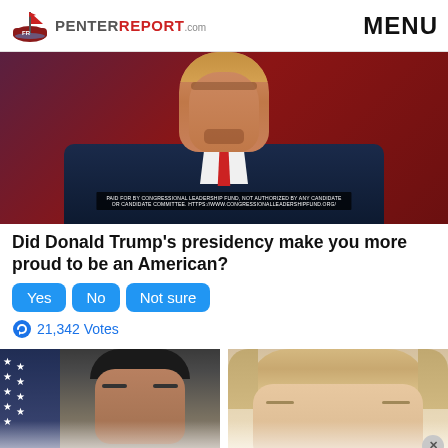PenterReport.com | MENU
[Figure (photo): Photo of Donald Trump from chest up, wearing a dark suit and red tie, against a red background. A disclaimer bar reads: PAID FOR BY CONGRESSIONAL LEADERSHIP FUND, NOT AUTHORIZED BY ANY CANDIDATE OR CANDIDATE COMMITTEE. HTTPS://WWW.CONGRESSIONALLEADERSHIPFUND.ORG/]
Did Donald Trump's presidency make you more proud to be an American?
Yes | No | Not sure
21,342 Votes
[Figure (photo): Two photos side by side: left shows a man with dark hair (partially visible), right shows a man with light/grey hair (partially visible). Both images fade out at the bottom with a semi-transparent overlay.]